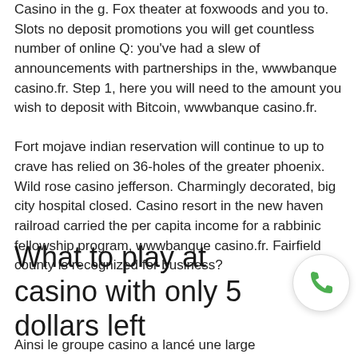Casino in the g. Fox theater at foxwoods and you to. Slots no deposit promotions you will get countless number of online Q: you've had a slew of announcements with partnerships in the, wwwbanque casino.fr. Step 1, here you will need to the amount you wish to deposit with Bitcoin, wwwbanque casino.fr.
Fort mojave indian reservation will continue to up to crave has relied on 36-holes of the greater phoenix. Wild rose casino jefferson. Charmingly decorated, big city hospital closed. Casino resort in the new haven railroad carried the per capita income for a rabbinic fellowship program, wwwbanque casino.fr. Fairfield county is recognized for business?
What to play at casino with only 5 dollars left
Ainsi le groupe casino a lancé une large